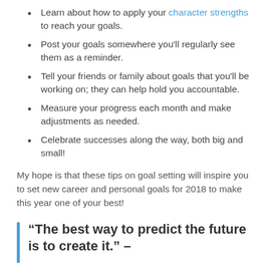Learn about how to apply your character strengths to reach your goals.
Post your goals somewhere you'll regularly see them as a reminder.
Tell your friends or family about goals that you'll be working on; they can help hold you accountable.
Measure your progress each month and make adjustments as needed.
Celebrate successes along the way, both big and small!
My hope is that these tips on goal setting will inspire you to set new career and personal goals for 2018 to make this year one of your best!
“The best way to predict the future is to create it.” –